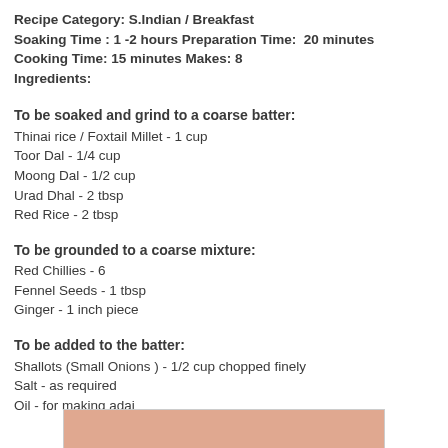Recipe Category: S.Indian / Breakfast
Soaking Time : 1 -2 hours Preparation Time:  20 minutes
Cooking Time: 15 minutes Makes: 8
Ingredients:
To be soaked and grind to a coarse batter:
Thinai rice / Foxtail Millet - 1 cup
Toor Dal - 1/4 cup
Moong Dal - 1/2 cup
Urad Dhal - 2 tbsp
Red Rice - 2 tbsp
To be grounded to a coarse mixture:
Red Chillies - 6
Fennel Seeds - 1 tbsp
Ginger - 1 inch piece
To be added to the batter:
Shallots (Small Onions ) - 1/2 cup chopped finely
Salt - as required
Oil - for making adai
[Figure (photo): Partial image of adai (Indian pancake/crepe) at the bottom of the page]